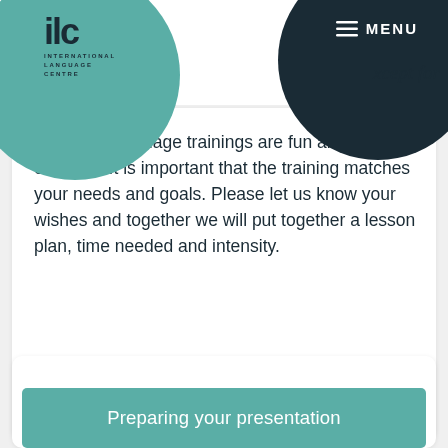[Figure (logo): ILC International Language Centre logo on teal circular background]
MENU
xcept for
Business language trainings are fun and highly effective. It is important that the training matches your needs and goals. Please let us know your wishes and together we will put together a lesson plan, time needed and intensity.
More information
Preparing your presentation